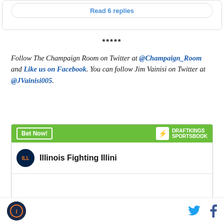Read 6 replies
*****
Follow The Champaign Room on Twitter at @Champaign_Room and Like us on Facebook. You can follow Jim Vainisi on Twitter at @JVainisi005.
[Figure (screenshot): DraftKings Sportsbook widget showing Illinois Fighting Illini betting options with green header and Bet Now button]
[Figure (logo): Site logo circle at bottom left and social media icons (Twitter bird and Facebook f) at bottom right]